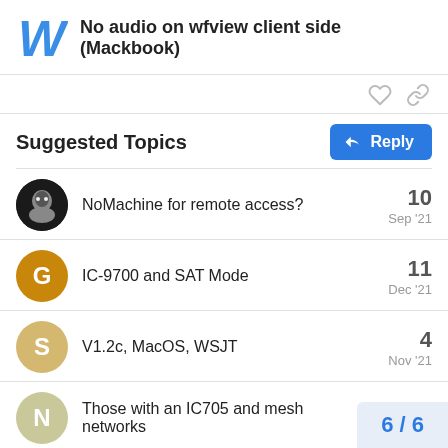No audio on wfview client side (Mackbook)
Suggested Topics
NoMachine for remote access? — 10 — Sep '21
IC-9700 and SAT Mode — 11 — Dec '21
V1.2c, MacOS, WSJT — 4 — Nov '21
Those with an IC705 and mesh networks — 7
6 / 6